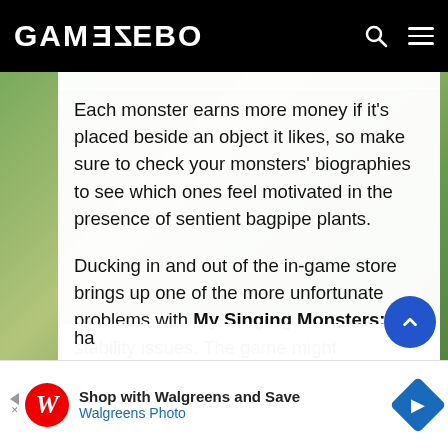GAMEZEBO
Each monster earns more money if it's placed beside an object it likes, so make sure to check your monsters' biographies to see which ones feel motivated in the presence of sentient bagpipe plants.
Ducking in and out of the in-game store brings up one of the more unfortunate problems with My Singing Monsters: stability issues. The game might occasionally crash on you after you perform a shopping spree, which can be frustrating. Breeding and ha[rdcore]... wo[rld]...
[Figure (screenshot): Advertisement banner: Shop with Walgreens and Save - Walgreens Photo]
Shop with Walgreens and Save Walgreens Photo